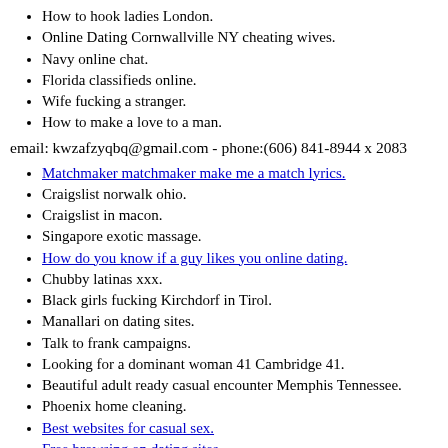How to hook ladies London.
Online Dating Cornwallville NY cheating wives.
Navy online chat.
Florida classifieds online.
Wife fucking a stranger.
How to make a love to a man.
email: kwzafzyqbq@gmail.com - phone:(606) 841-8944 x 2083
Matchmaker matchmaker make me a match lyrics.
Craigslist norwalk ohio.
Craigslist in macon.
Singapore exotic massage.
How do you know if a guy likes you online dating.
Chubby latinas xxx.
Black girls fucking Kirchdorf in Tirol.
Manallari on dating sites.
Talk to frank campaigns.
Looking for a dominant woman 41 Cambridge 41.
Beautiful adult ready casual encounter Memphis Tennessee.
Phoenix home cleaning.
Best websites for casual sex.
Free browsing on dating sites.
Rental apartments in miami beach.
Woman seeking nsa Ford Virginia.
Tlb for sale pretoria.